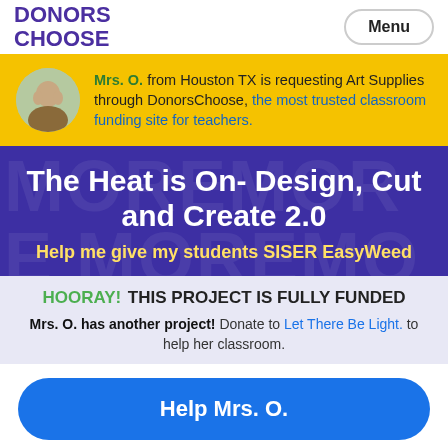DONORS CHOOSE | Menu
Mrs. O. from Houston TX is requesting Art Supplies through DonorsChoose, the most trusted classroom funding site for teachers.
The Heat is On- Design, Cut and Create 2.0
Help me give my students SISER EasyWeed
HOORAY! THIS PROJECT IS FULLY FUNDED
Mrs. O. has another project! Donate to Let There Be Light. to help her classroom.
Help Mrs. O.